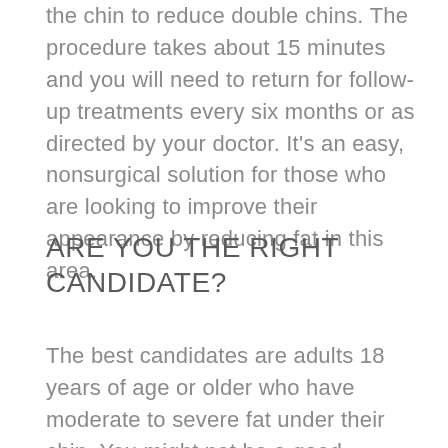the chin to reduce double chins. The procedure takes about 15 minutes and you will need to return for follow-up treatments every six months or as directed by your doctor. It's an easy, nonsurgical solution for those who are looking to improve their appearance by reducing fat in this area.
ARE YOU THE RIGHT CANDIDATE?
The best candidates are adults 18 years of age or older who have moderate to severe fat under their chin. You might not be a good candidate if you have had or are planning to have facial